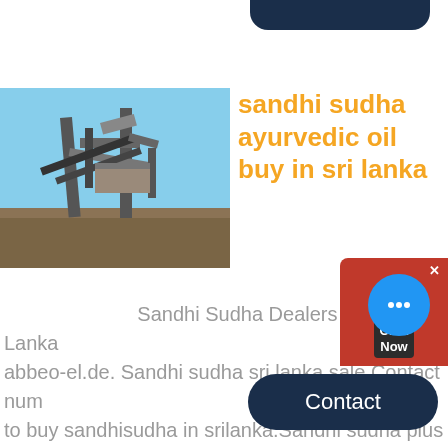[Figure (photo): Industrial machinery / stone crusher equipment outdoors with blue sky background]
sandhi sudha ayurvedic oil buy in sri lanka
Sandhi Sudha Dealers In Sri Lanka - abbeo-el.de. Sandhi sudha sri lanka sale.Contact number to buy sandhisudha in srilanka.Sandhi sudha plus in sri lanka for sale in colombo, salk is the largest free buying and selling information web site in sri lanka since 2010buy and sell, read now sandhi sudha oil in sri lanka pa elakiri community.Page 2 .